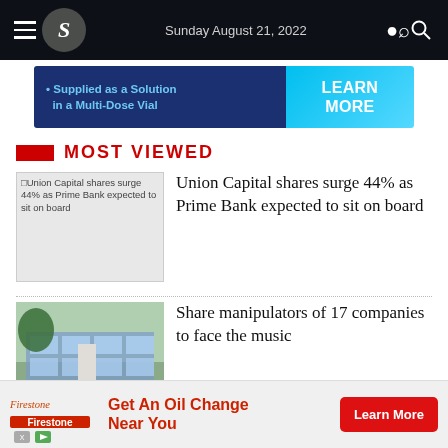Sunday August 21, 2022
[Figure (infographic): Advertisement banner: Supplied as a Solution in a Multi-Dose Vial — LEARN MORE]
MOST VIEWED
[Figure (infographic): Placeholder image for Union Capital shares article]
Union Capital shares surge 44% as Prime Bank expected to sit on board
[Figure (photo): Photo of a building exterior (Share manipulators article)]
Share manipulators of 17 companies to face the music
[Figure (infographic): Bottom advertisement: Firestone — Get An Oil Change Near You — Learn More]